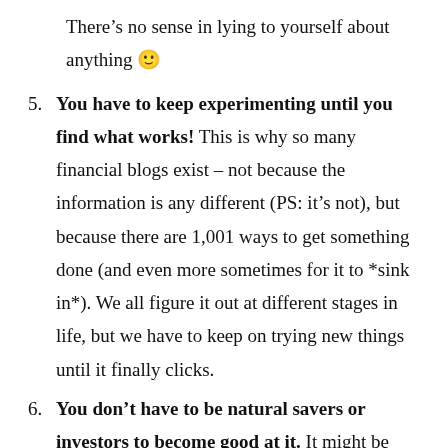There’s no sense in lying to yourself about anything 🙂
5. You have to keep experimenting until you find what works! This is why so many financial blogs exist – not because the information is any different (PS: it’s not), but because there are 1,001 ways to get something done (and even more sometimes for it to *sink in*). We all figure it out at different stages in life, but we have to keep on trying new things until it finally clicks.
6. You don’t have to be natural savers or investors to become good at it. It might be